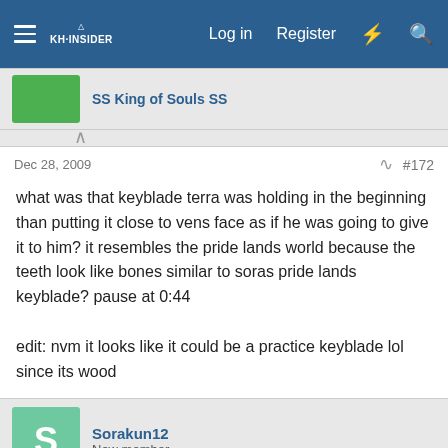Navigation bar with Log in, Register, and search icons
SS King of Souls SS
Dec 28, 2009   #172
what was that keyblade terra was holding in the beginning than putting it close to vens face as if he was going to give it to him? it resembles the pride lands world because the teeth look like bones similar to soras pride lands keyblade? pause at 0:44

edit: nvm it looks like it could be a practice keyblade lol since its wood
Sorakun12
New member
Dec 28, 2009   #173
New2Ya said: